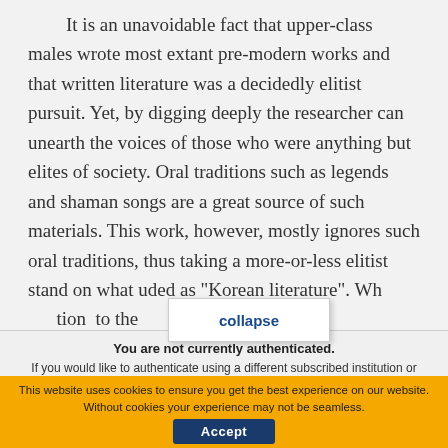It is an unavoidable fact that upper-class males wrote most extant pre-modern works and that written literature was a decidedly elitist pursuit. Yet, by digging deeply the researcher can unearth the voices of those who were anything but elites of society. Oral traditions such as legends and shaman songs are a great source of such materials. This work, however, mostly ignores such oral traditions, thus taking a more-or-less elitist stand on what [...]uded as "Korean literature". Wh[...] ...tion[] to the
You are not currently authenticated. If you would like to authenticate using a different subscribed institution or
This website uses cookies to ensure you get the best experience on our website. Without cookies your experience may not be seamless.